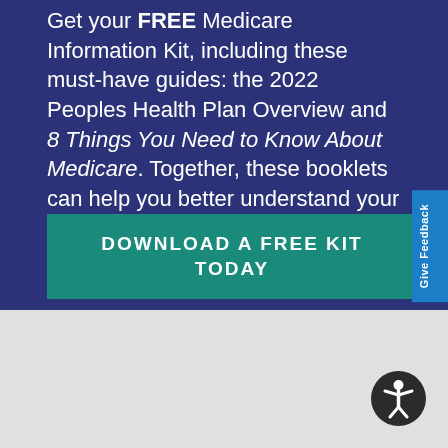Get your FREE Medicare Information kit, including these must-have guides: the 2022 Peoples Health Plan Overview and 8 Things You Need to Know About Medicare. Together, these booklets can help you better understand your coverage options under Medicare.
DOWNLOAD A FREE KIT TODAY
[Figure (other): Teal/blue call-to-action button labeled DOWNLOAD A FREE KIT TODAY]
[Figure (other): Accessibility icon button (person with arms outstretched in circle) bottom right]
Give Feedback